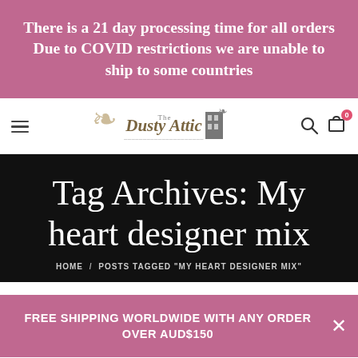There is a 21 day processing time for all orders Due to COVID restrictions we are unable to ship to some countries
[Figure (logo): The Dusty Attic shop logo with decorative elements]
Tag Archives: My heart designer mix
HOME / POSTS TAGGED "MY HEART DESIGNER MIX"
FREE SHIPPING WORLDWIDE WITH ANY ORDER OVER AUD$150